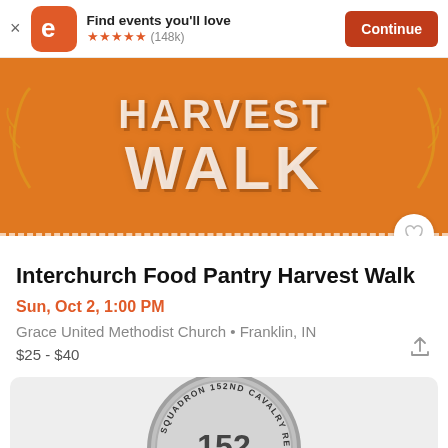Find events you'll love ★★★★★ (148k) Continue
[Figure (screenshot): Eventbrite app banner with orange logo icon, star rating, and Continue button]
[Figure (photo): Orange event banner showing 'HARVEST WALK' text in white bold letters with dashed border at bottom]
Interchurch Food Pantry Harvest Walk
Sun, Oct 2, 1:00 PM
Grace United Methodist Church • Franklin, IN
$25 - $40
[Figure (photo): Partial circular medal or coin showing '152ND CAVALRY REGIMENT' and number 152 at bottom of page]